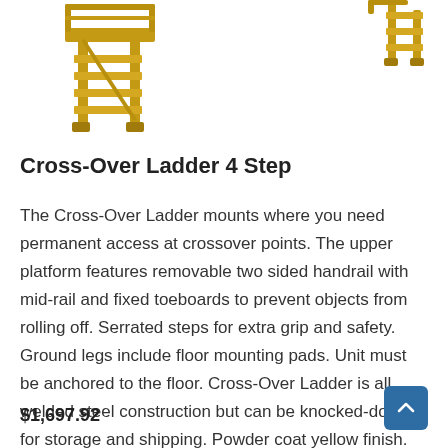[Figure (photo): Product photos of a yellow Cross-Over Ladder 4 Step shown from two angles — a larger view on the left and a smaller partial view on the upper right.]
Cross-Over Ladder 4 Step
The Cross-Over Ladder mounts where you need permanent access at crossover points. The upper platform features removable two sided handrail with mid-rail and fixed toeboards to prevent objects from rolling off. Serrated steps for extra grip and safety. Ground legs include floor mounting pads. Unit must be anchored to the floor. Cross-Over Ladder is all welded steel construction but can be knocked-down for storage and shipping. Powder coat yellow finish.
$1,697.92